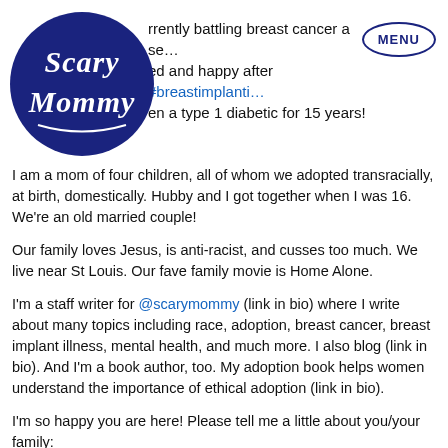[Figure (logo): Scary Mommy logo badge — dark navy blue circular badge with 'Scary Mommy' in white script/bubble lettering]
rrently battling breast cancer a se… ed and happy after #breastimplanti… en a type 1 diabetic for 15 years!
I am a mom of four children, all of whom we adopted transracially, at birth, domestically. Hubby and I got together when I was 16. We're an old married couple!
Our family loves Jesus, is anti-racist, and cusses too much. We live near St Louis. Our fave family movie is Home Alone.
I'm a staff writer for @scarymommy (link in bio) where I write about many topics including race, adoption, breast cancer, breast implant illness, mental health, and much more. I also blog (link in bio). And I'm a book author, too. My adoption book helps women understand the importance of ethical adoption (link in bio).
I'm so happy you are here! Please tell me a little about you/your family:
🙏🙏🙏🙏🙏🙏🙏
#introduction #type1diabetes #type1strong #breastcancer #breastcancerawareness #breastcancerwarrior #bigfamilylife